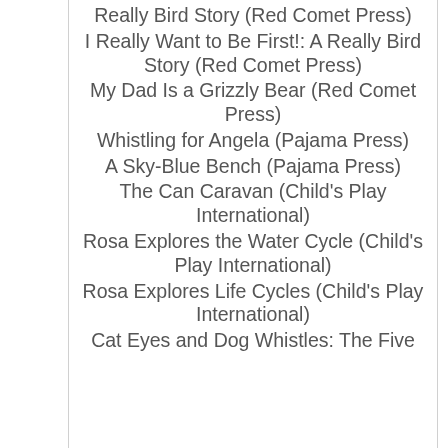Really Bird Story (Red Comet Press)
I Really Want to Be First!: A Really Bird Story (Red Comet Press)
My Dad Is a Grizzly Bear (Red Comet Press)
Whistling for Angela (Pajama Press)
A Sky-Blue Bench (Pajama Press)
The Can Caravan (Child's Play International)
Rosa Explores the Water Cycle (Child's Play International)
Rosa Explores Life Cycles (Child's Play International)
Cat Eyes and Dog Whistles: The Five